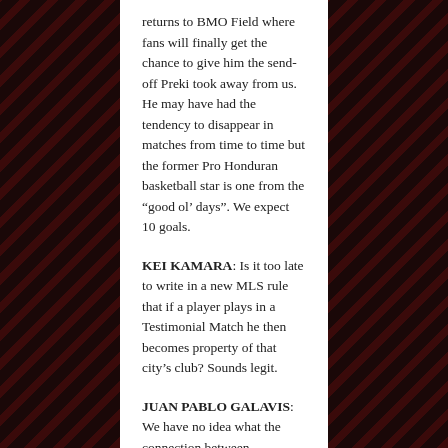returns to BMO Field where fans will finally get the chance to give him the send-off Preki took away from us. He may have had the tendency to disappear in matches from time to time but the former Pro Honduran basketball star is one from the “good ol’ days”. We expect 10 goals.
KEI KAMARA: Is it too late to write in a new MLS rule that if a player plays in a Testimonial Match he then becomes property of that city’s club? Sounds legit.
JUAN PABLO GALAVIS: We have no idea what the connection between